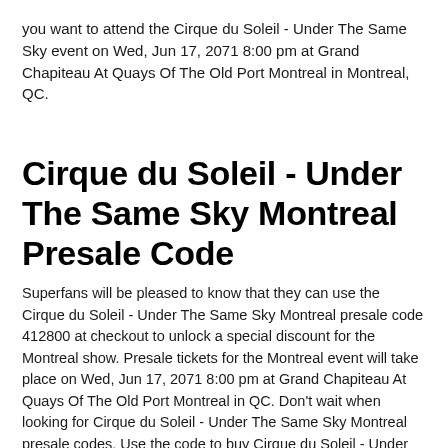you want to attend the Cirque du Soleil - Under The Same Sky event on Wed, Jun 17, 2071 8:00 pm at Grand Chapiteau At Quays Of The Old Port Montreal in Montreal, QC.
Cirque du Soleil - Under The Same Sky Montreal Presale Code
Superfans will be pleased to know that they can use the Cirque du Soleil - Under The Same Sky Montreal presale code 412800 at checkout to unlock a special discount for the Montreal show. Presale tickets for the Montreal event will take place on Wed, Jun 17, 2071 8:00 pm at Grand Chapiteau At Quays Of The Old Port Montreal in QC. Don't wait when looking for Cirque du Soleil - Under The Same Sky Montreal presale codes. Use the code to buy Cirque du Soleil - Under The Same Sky Montreal tickets.